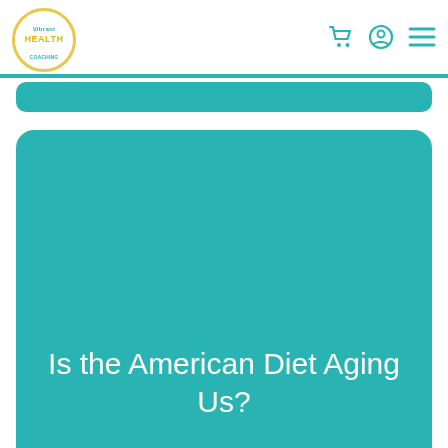Vibrant Health Coaching — navigation header with logo, cart, profile, and menu icons
Is the American Diet Aging Us?